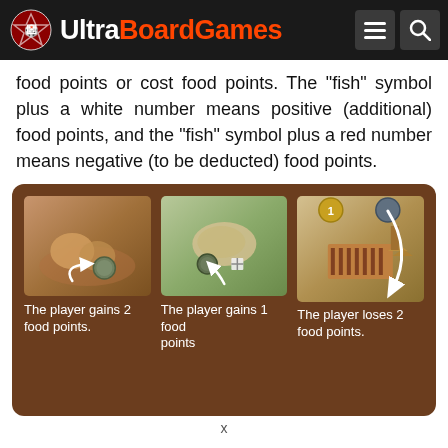Ultra Board Games
food points or cost food points. The "fish" symbol plus a white number means positive (additional) food points, and the "fish" symbol plus a red number means negative (to be deducted) food points.
[Figure (illustration): Board game illustration showing three card examples on a brown wooden background. Left card: player gains 2 food points (grain/food image with arrow). Middle card: player gains 1 food points (island map image with arrow). Right card: player loses 2 food points (building/granary image with arrow).]
x